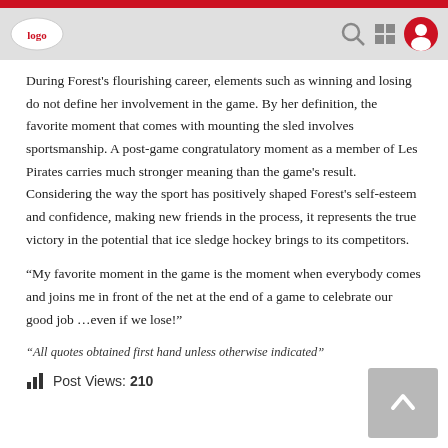[Navigation bar with logo, search icon, grid icon, and user profile icon]
During Forest's flourishing career, elements such as winning and losing do not define her involvement in the game. By her definition, the favorite moment that comes with mounting the sled involves sportsmanship. A post-game congratulatory moment as a member of Les Pirates carries much stronger meaning than the game's result. Considering the way the sport has positively shaped Forest's self-esteem and confidence, making new friends in the process, it represents the true victory in the potential that ice sledge hockey brings to its competitors.
“My favorite moment in the game is the moment when everybody comes and joins me in front of the net at the end of a game to celebrate our good job …even if we lose!”
“All quotes obtained first hand unless otherwise indicated”
Post Views: 210